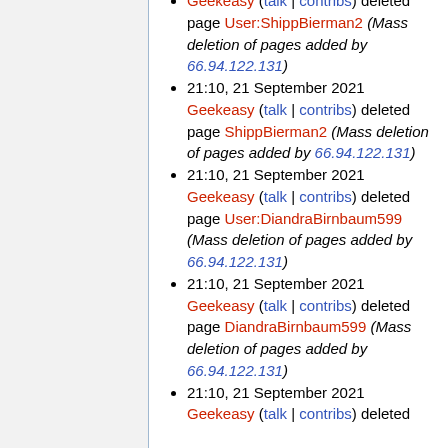Geekeasy (talk | contribs) deleted page User:ShippBierman2 (Mass deletion of pages added by 66.94.122.131)
21:10, 21 September 2021 Geekeasy (talk | contribs) deleted page ShippBierman2 (Mass deletion of pages added by 66.94.122.131)
21:10, 21 September 2021 Geekeasy (talk | contribs) deleted page User:DiandraBirnbaum599 (Mass deletion of pages added by 66.94.122.131)
21:10, 21 September 2021 Geekeasy (talk | contribs) deleted page DiandraBirnbaum599 (Mass deletion of pages added by 66.94.122.131)
21:10, 21 September 2021 Geekeasy (talk | contribs) deleted